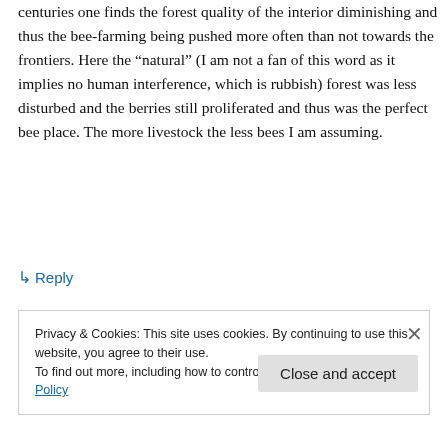centuries one finds the forest quality of the interior diminishing and thus the bee-farming being pushed more often than not towards the frontiers. Here the “natural” (I am not a fan of this word as it implies no human interference, which is rubbish) forest was less disturbed and the berries still proliferated and thus was the perfect bee place. The more livestock the less bees I am assuming.
↳ Reply
Privacy & Cookies: This site uses cookies. By continuing to use this website, you agree to their use.
To find out more, including how to control cookies, see here: Cookie Policy
Close and accept